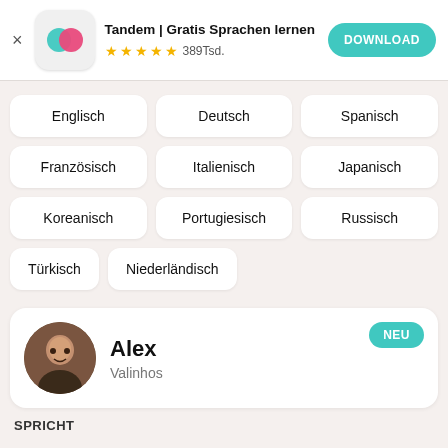[Figure (screenshot): App store banner showing Tandem app icon (overlapping teal and pink circles), app title, star rating, and download button]
Tandem | Gratis Sprachen lernen
★★★★½ 389Tsd.
Englisch
Deutsch
Spanisch
Französisch
Italienisch
Japanisch
Koreanisch
Portugiesisch
Russisch
Türkisch
Niederländisch
Alex
Valinhos
SPRICHT